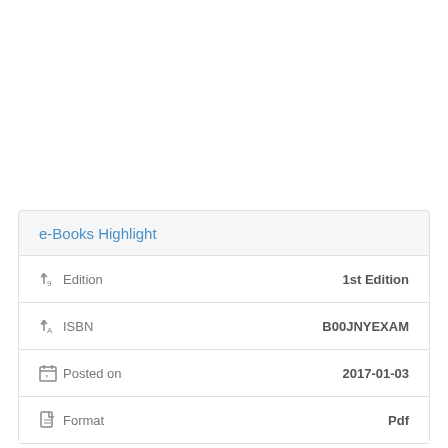e-Books Highlight
| Field | Value |
| --- | --- |
| Edition | 1st Edition |
| ISBN | B00JNYEXAM |
| Posted on | 2017-01-03 |
| Format | Pdf |